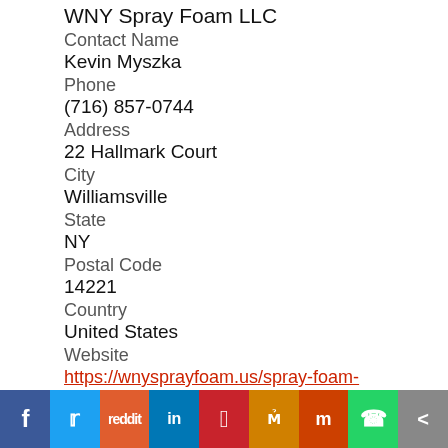WNY Spray Foam LLC
Contact Name
Kevin Myszka
Phone
(716) 857-0744
Address
22 Hallmark Court
City
Williamsville
State
NY
Postal Code
14221
Country
United States
Website
https://wnysprayfoam.us/spray-foam-insulation-